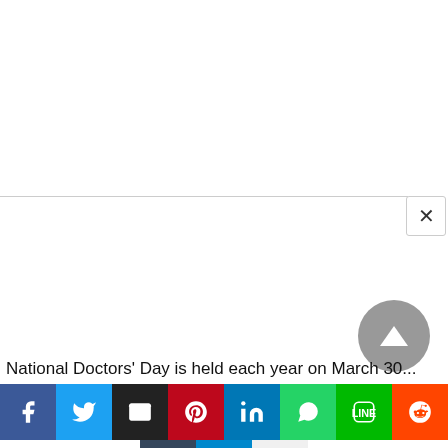[Figure (screenshot): White blank content area with a modal overlay panel and a close (X) button in the upper right corner]
National Doctors’ Day is held each year on March 30...
[Figure (infographic): Social media sharing bar with icons for Facebook, Twitter, Email, Pinterest, LinkedIn, WhatsApp, Line, Reddit, Tumblr, Telegram, and Pocket]
[Figure (other): Scroll-to-top arrow button (dark gray circle with upward arrow)]